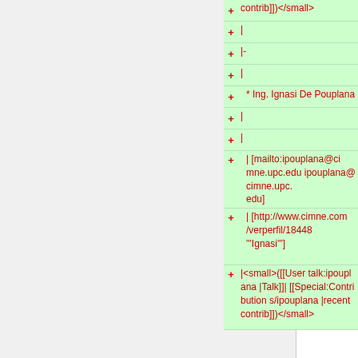+ | contrib]])}</small>
+ |
+ |-
+ |
+ * Ing. Ignasi De Pouplana
+ |
+ |
+ | [mailto:ipouplana@cimne.upc.edu ipouplana@cimne.upc.edu]
+ | [http://www.cimne.com/verperfil/18448 '''Ignasi''']
+ |<small>([[User talk:ipouplana |Talk]] [[Special:Contributions/ipouplana |recent contrib]])</small>